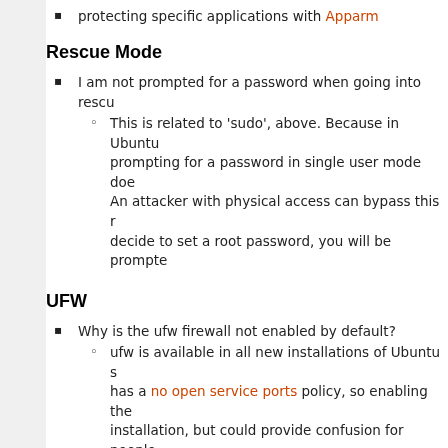protecting specific applications with Apparmor
Rescue Mode
I am not prompted for a password when going into rescue mode.
This is related to 'sudo', above. Because in Ubuntu prompting for a password in single user mode does not... An attacker with physical access can bypass this r... decide to set a root password, you will be prompte...
UFW
Why is the ufw firewall not enabled by default?
ufw is available in all new installations of Ubuntu s... has a no open service ports policy, so enabling the... installation, but could provide confusion for people... of restrictive firewall rules. As a result, when first a... firewall. In Ubuntu 9.04 and later, you can enable... /usr/share/doc/ufw/README.Debian for details.
GNOME Display Manager (gdm)
How do I disable the face browser at the login screen?